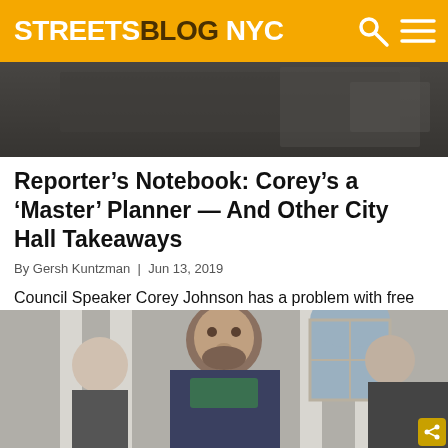STREETSBLOG NYC
[Figure (photo): Cropped photo showing hands near a laptop or keyboard, partially visible, dark background]
Reporter’s Notebook: Corey’s a ‘Master’ Planner — And Other City Hall Takeaways
By Gersh Kuntzman | Jun 13, 2019
Council Speaker Corey Johnson has a problem with free parking — and other highlights from this week’s hearing on the Speaker’s landmark “master plan” bill for street safety.
[Figure (photo): Photo of a heavyset man with a beard and scarf speaking outside a building with columns and an arched window, with other people partially visible beside him]